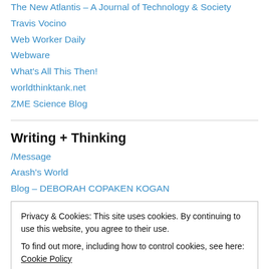The New Atlantis – A Journal of Technology & Society
Travis Vocino
Web Worker Daily
Webware
What's All This Then!
worldthinktank.net
ZME Science Blog
Writing + Thinking
/Message
Arash's World
Blog – DEBORAH COPAKEN KOGAN
Privacy & Cookies: This site uses cookies. By continuing to use this website, you agree to their use. To find out more, including how to control cookies, see here: Cookie Policy
Close and accept
Microkhan by Brendan I. Koerner